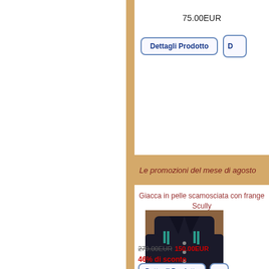75.00EUR
Dettagli Prodotto
Le promozioni del mese di agosto
Giacca in pelle scamosciata con frange Scully
[Figure (photo): Dark denim/leather jacket with fringe details hanging on display]
279.00EUR  150.00EUR  46% di sconto
Dettagli Prodotto